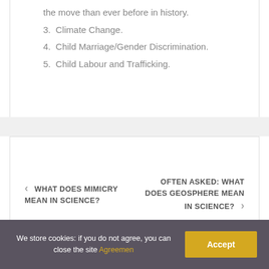the move than ever before in history.
3. Climate Change.
4. Child Marriage/Gender Discrimination.
5. Child Labour and Trafficking.
< WHAT DOES MIMICRY MEAN IN SCIENCE?
OFTEN ASKED: WHAT DOES GEOSPHERE MEAN IN SCIENCE? >
We store cookies: if you do not agree, you can close the site Agreemen